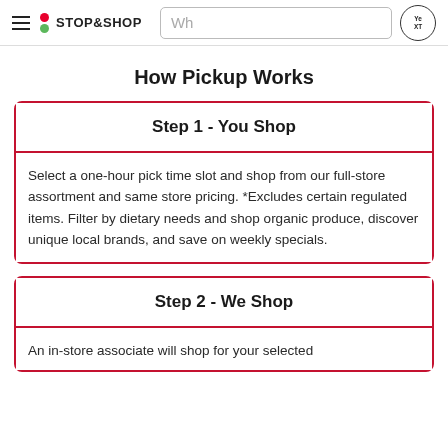Stop & Shop — navigation bar with search
How Pickup Works
Step 1 - You Shop
Select a one-hour pick time slot and shop from our full-store assortment and same store pricing. *Excludes certain regulated items. Filter by dietary needs and shop organic produce, discover unique local brands, and save on weekly specials.
Step 2 - We Shop
An in-store associate will shop for your selected